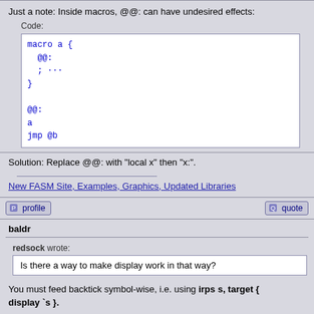Just a note: Inside macros, @@: can have undesired effects:
Code:
macro a {
  @@:
  ; ...
}

@@:
a
jmp @b
Solution: Replace @@: with "local x" then "x:".
New FASM Site, Examples, Graphics, Updated Libraries
profile  quote
baldr
redsock wrote:
Is there a way to make display work in that way?
You must feed backtick symbol-wise, i.e. using irps s, target { display `s }.
----8<-----